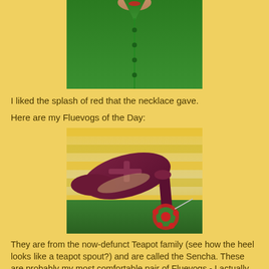[Figure (photo): Close-up photo of a person wearing a bright green cardigan with small buttons and a red necklace visible at top.]
I liked the splash of red that the necklace gave.
Here are my Fluevogs of the Day:
[Figure (photo): Photo of a dark burgundy/maroon T-strap heel shoe (Fluevog Sencha, Teapot family) placed on a green garment and yellow/white striped fabric, with a red floral necklace visible beside it.]
They are from the now-defunct Teapot family (see how the heel looks like a teapot spout?) and are called the Sencha. These are probably my most comfortable pair of Fluevogs - I actually ran for the bus in these today! I gave them a polish